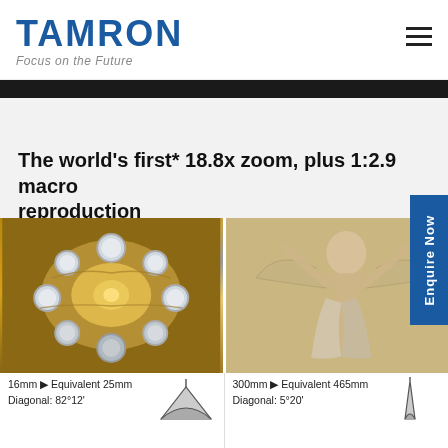TAMRON — Focus on the Future
The world's first* 18.8x zoom, plus 1:2.9 macro reproduction
[Figure (photo): Wide-angle shot at 16mm of ornate baroque ceiling fresco with circular skylights. 16mm ▶ Equivalent 25mm, Diagonal: 82°12']
[Figure (photo): Telephoto shot at 300mm of an angel figure from a classical painting. 300mm ▶ Equivalent 465mm, Diagonal: 5°20']
16mm ▶ Equivalent 25mm
Diagonal: 82°12'
300mm ▶ Equivalent 465mm
Diagonal: 5°20'